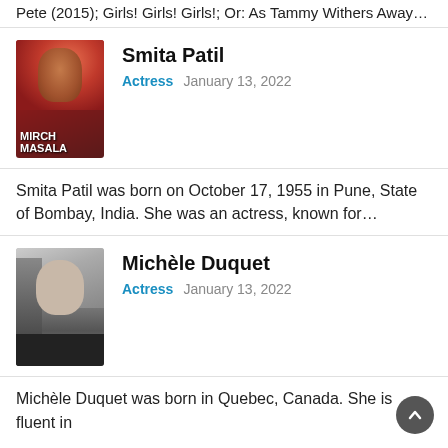Pete (2015); Girls! Girls! Girls!; Or: As Tammy Withers Away…
Smita Patil
Actress   January 13, 2022
[Figure (photo): Movie poster for Mirch Masala featuring an actress with flowers]
Smita Patil was born on October 17, 1955 in Pune, State of Bombay, India. She was an actress, known for…
Michèle Duquet
Actress   January 13, 2022
[Figure (photo): Black and white photo of Michèle Duquet with long dark hair]
Michèle Duquet was born in Quebec, Canada. She is fluent in